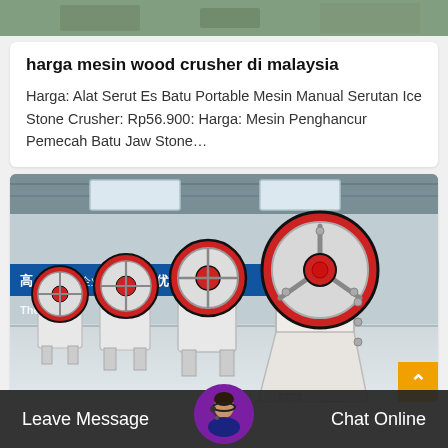[Figure (photo): Top strip showing partial image of green/natural scene]
harga mesin wood crusher di malaysia
Harga: Alat Serut Es Batu Portable Mesin Manual Serutan Ice Stone Crusher: Rp56.900: Harga: Mesin Penghancur Pemecah Batu Jaw Stone…
[Figure (photo): Photo of several jaw crusher machines lined up in a factory, with Chinese banner text and 'The Ap' watermark visible]
Leave Message   Chat Online